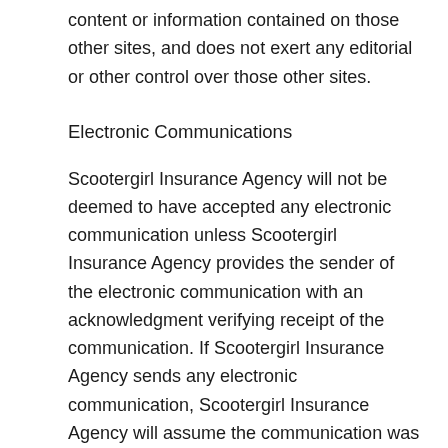content or information contained on those other sites, and does not exert any editorial or other control over those other sites.
Electronic Communications
Scootergirl Insurance Agency will not be deemed to have accepted any electronic communication unless Scootergirl Insurance Agency provides the sender of the electronic communication with an acknowledgment verifying receipt of the communication. If Scootergirl Insurance Agency sends any electronic communication, Scootergirl Insurance Agency will assume the communication was received intact by the intended recipient. The recipient of such message must notify Scootergirl Insurance Agency if the transmission was